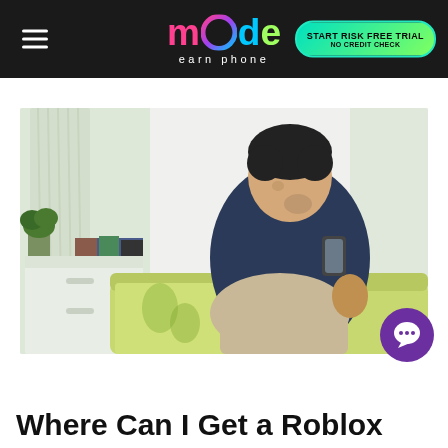mode earn phone — START RISK FREE TRIAL NO CREDIT CHECK
[Figure (photo): Young Asian man sitting on a sofa smiling at his smartphone, with a nightstand, plant, and curtains in the background]
Where Can I Get a Roblox